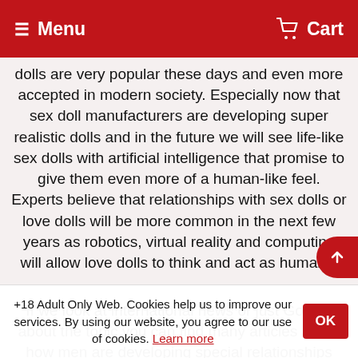Menu  Cart
dolls are very popular these days and even more accepted in modern society. Especially now that sex doll manufacturers are developing super realistic dolls and in the future we will see life-like sex dolls with artificial intelligence that promise to give them even more of a human-like feel. Experts believe that relationships with sex dolls or love dolls will be more common in the next few years as robotics, virtual reality and computing will allow love dolls to think and act as humans.
If we look at international news or just Google about the topic you can find many articles about how men are developing special relationships with realistic sex dolls, and the reality is that sex dolls can bring many benefits to single men or women and even couples. Many women buy sex dolls for photography purpo
+18 Adult Only Web. Cookies help us to improve our services. By using our website, you agree to our use of cookies. Learn more